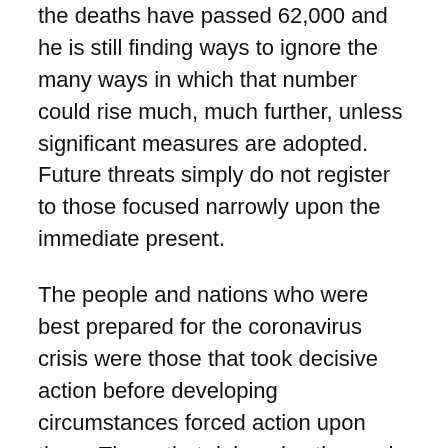the deaths have passed 62,000 and he is still finding ways to ignore the many ways in which that number could rise much, much further, unless significant measures are adopted. Future threats simply do not register to those focused narrowly upon the immediate present.
The people and nations who were best prepared for the coronavirus crisis were those that took decisive action before developing circumstances forced action upon them. Those that delayed action and dragged their feet, wanting to avoid any sense of ‘panic’ or overreaction are now generally the ones that find themselves in the most constrained situations, where return to anything resembling ‘normal’ will prove most difficult, or where the greatest gambles must be made (even if such gambles pay off, they shouldn’t have needed to be made). They are the nations that are frantically scrambling to acquire